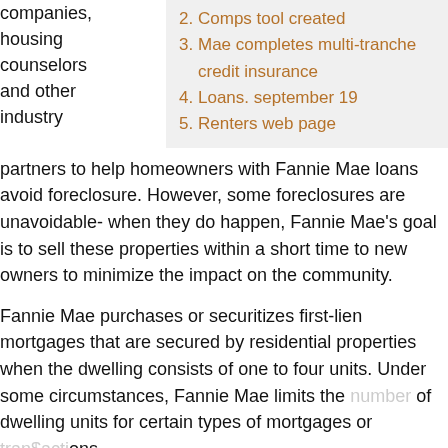companies, housing counselors and other industry
2. Comps tool created
3. Mae completes multi-tranche credit insurance
4. Loans. september 19
5. Renters web page
partners to help homeowners with Fannie Mae loans avoid foreclosure. However, some foreclosures are unavoidable- when they do happen, Fannie Mae's goal is to sell these properties within a short time to new owners to minimize the impact on the community.
Fannie Mae purchases or securitizes first-lien mortgages that are secured by residential properties when the dwelling consists of one to four units. Under some circumstances, Fannie Mae limits the number of dwelling units for certain types of mortgages or transactions.
DHS Insights: Property Income and Expense comps tool created